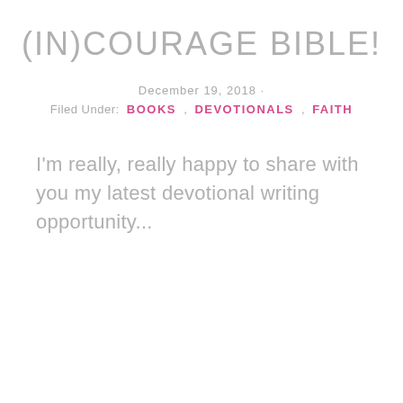(IN)COURAGE BIBLE!
December 19, 2018 ·
Filed Under: BOOKS , DEVOTIONALS , FAITH
I'm really, really happy to share with you my latest devotional writing opportunity...